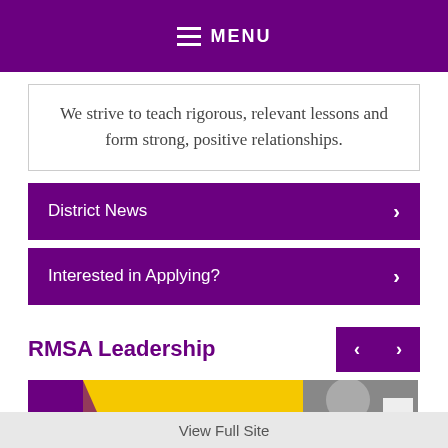MENU
We strive to teach rigorous, relevant lessons and form strong, positive relationships.
District News
Interested in Applying?
RMSA Leadership
[Figure (photo): Partial image of a person, partially visible at the bottom of the page, with yellow and purple background elements]
View Full Site